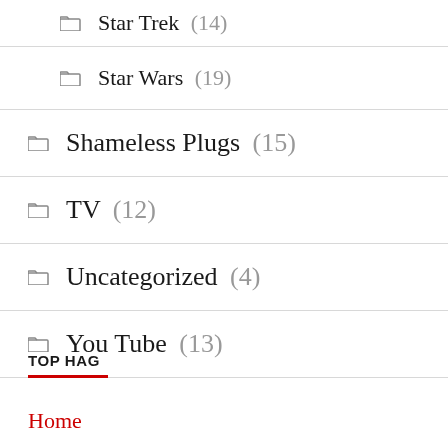Star Trek (14)
Star Wars (19)
Shameless Plugs (15)
TV (12)
Uncategorized (4)
You Tube (13)
TOP HAG
Home